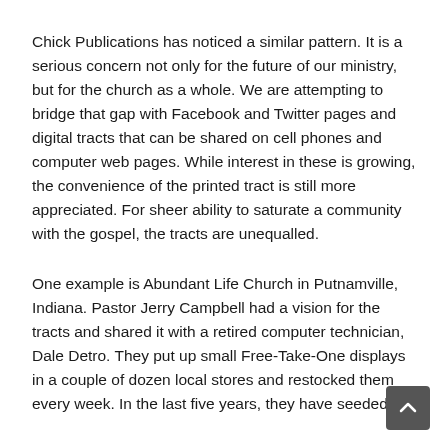Chick Publications has noticed a similar pattern. It is a serious concern not only for the future of our ministry, but for the church as a whole. We are attempting to bridge that gap with Facebook and Twitter pages and digital tracts that can be shared on cell phones and computer web pages. While interest in these is growing, the convenience of the printed tract is still more appreciated. For sheer ability to saturate a community with the gospel, the tracts are unequalled.
One example is Abundant Life Church in Putnamville, Indiana. Pastor Jerry Campbell had a vision for the tracts and shared it with a retired computer technician, Dale Detro. They put up small Free-Take-One displays in a couple of dozen local stores and restocked them every week. In the last five years, they have seeded